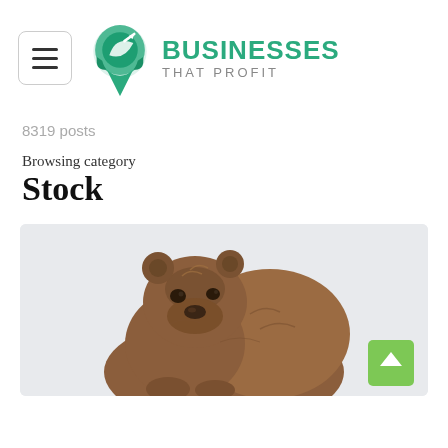[Figure (logo): Businesses That Profit logo with green pin/leaf icon and text 'BUSINESSES THAT PROFIT']
8319 posts
Browsing category
Stock
[Figure (photo): A large brown bear (grizzly) standing facing the camera against a light gray background]